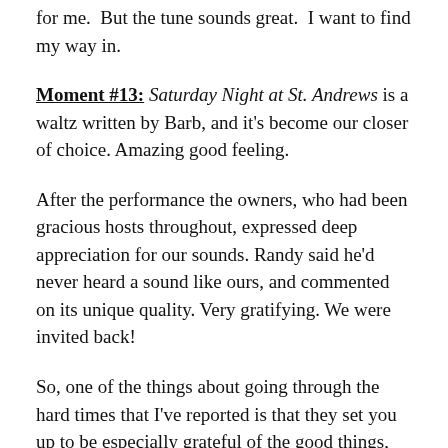for me.  But the tune sounds great.  I want to find my way in.
Moment #13: Saturday Night at St. Andrews is a waltz written by Barb, and it's become our closer of choice. Amazing good feeling.
After the performance the owners, who had been gracious hosts throughout, expressed deep appreciation for our sounds. Randy said he'd never heard a sound like ours, and commented on its unique quality. Very gratifying. We were invited back!
So, one of the things about going through the hard times that I've reported is that they set you up to be especially grateful of the good things, and, in a meta way, to be grateful for gratitude.  Like it's root, grace, ...